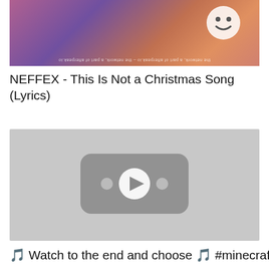[Figure (photo): Top portion of a music video thumbnail or banner image with purple/orange gradient colors and a smiley face graphic on the right side, with small circular text at the bottom reading 'the network, a part of afterpeak.io - the network, a part of afterpeak.io']
NEFFEX - This Is Not a Christmas Song (Lyrics)
[Figure (screenshot): YouTube video embed placeholder with a gray background showing a YouTube play button icon (rounded rectangle with play triangle in the center and two dots on either side)]
🎵 Watch to the end and choose 🎵 #minecraft #minecraftreali